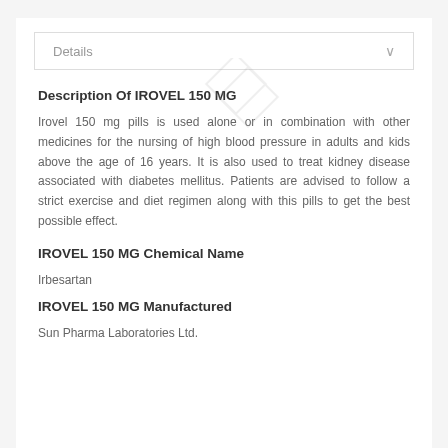Details
Description Of IROVEL 150 MG
Irovel 150 mg pills is used alone or in combination with other medicines for the nursing of high blood pressure in adults and kids above the age of 16 years. It is also used to treat kidney disease associated with diabetes mellitus. Patients are advised to follow a strict exercise and diet regimen along with this pills to get the best possible effect.
IROVEL 150 MG Chemical Name
Irbesartan
IROVEL 150 MG Manufactured
Sun Pharma Laboratories Ltd.